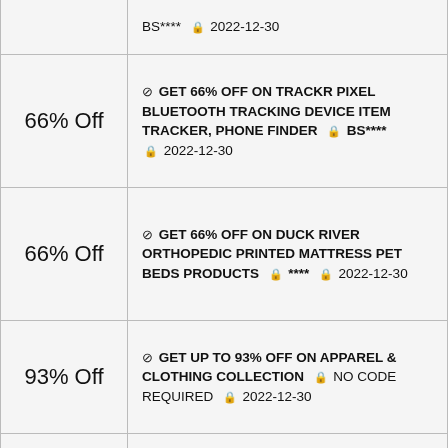| Discount | Deal Details |
| --- | --- |
|  | BS****  🔒 2022-12-30 |
| 66% Off | ✅ GET 66% OFF ON TRACKR PIXEL BLUETOOTH TRACKING DEVICE ITEM TRACKER, PHONE FINDER  🔒 BS****  🔒 2022-12-30 |
| 66% Off | ✅ GET 66% OFF ON DUCK RIVER ORTHOPEDIC PRINTED MATTRESS PET BEDS PRODUCTS  🔒 ****  🔒 2022-12-30 |
| 93% Off | ✅ GET UP TO 93% OFF ON APPAREL & CLOTHING COLLECTION  🔒 NO CODE REQUIRED  🔒 2022-12-30 |
| 89% Off | ✅ GET UP TO 89% OFF ON ELECTRONIC ITEM'S  🔒 NO CODE REQUIRED  🔒 2022-12-30 |